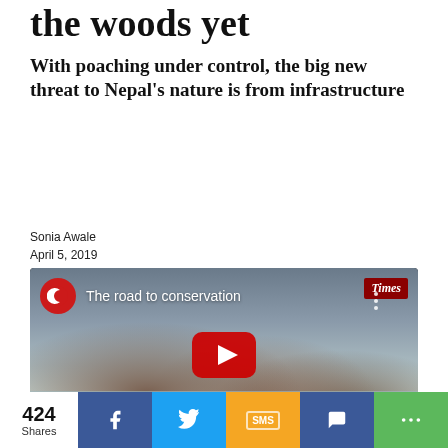the woods yet
With poaching under control, the big new threat to Nepal's nature is from infrastructure
Sonia Awale
April 5, 2019
[Figure (screenshot): YouTube video thumbnail showing elephants wading through water, titled 'The road to conservation' with a Times badge in the top right and a YouTube play button in the center]
424 Shares